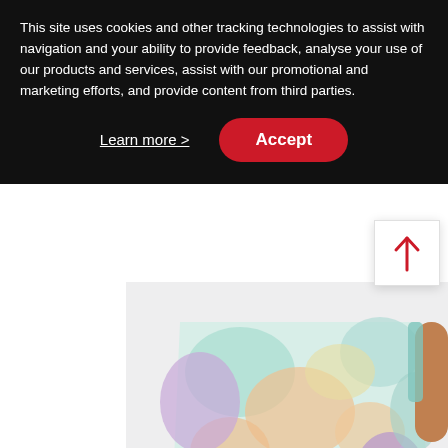This site uses cookies and other tracking technologies to assist with navigation and your ability to provide feedback, analyse your use of our products and services, assist with our promotional and marketing efforts, and provide content from third parties.
Learn more >
Accept
[Figure (photo): Model wearing a tie-dye colorful mini skirt/short dress in pastel colors (mint, lavender, peach), showing torso and legs from side angle on light gray background.]
[Figure (photo): Model showing head and upper body from behind with dark hair in updo bun, on light gray background.]